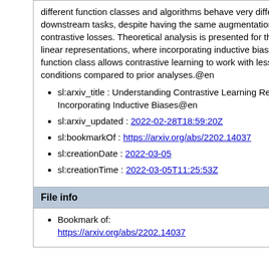different function classes and algorithms behave very differently on downstream tasks, despite having the same augmentations and contrastive losses. Theoretical analysis is presented for the class of linear representations, where incorporating inductive biases of the function class allows contrastive learning to work with less stringent conditions compared to prior analyses.@en
sl:arxiv_title : Understanding Contrastive Learning Requires Incorporating Inductive Biases@en
sl:arxiv_updated : 2022-02-28T18:59:20Z
sl:bookmarkOf : https://arxiv.org/abs/2202.14037
sl:creationDate : 2022-03-05
sl:creationTime : 2022-03-05T11:25:53Z
File info
Bookmark of: https://arxiv.org/abs/2202.14037